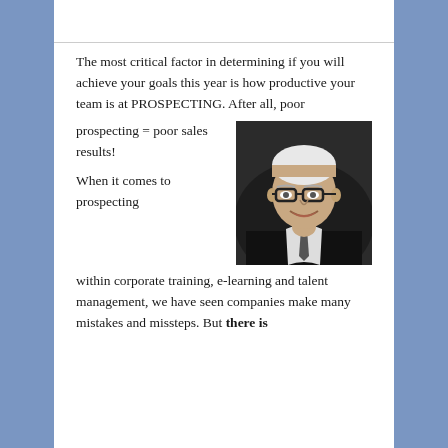The most critical factor in determining if you will achieve your goals this year is how productive your team is at PROSPECTING. After all, poor prospecting = poor sales results! When it comes to prospecting within corporate training, e-learning and talent management, we have seen companies make many mistakes and missteps. But there is
[Figure (photo): Black and white professional headshot of a middle-aged man with white/gray hair, wearing glasses, a dark suit and tie, smiling at the camera]